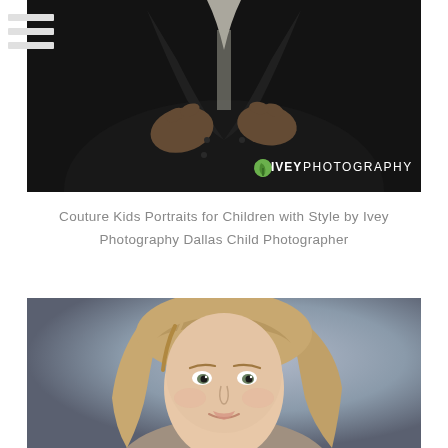[Figure (photo): Close-up photo of a child in a dark suit jacket buttoning the jacket, showing hands and torso only against a dark background. Ivey Photography logo in bottom right corner.]
Couture Kids Portraits for Children with Style by Ivey Photography Dallas Child Photographer
[Figure (photo): Portrait photo of a young girl with long blonde hair and a braid, smiling slightly, against a soft grey studio background.]